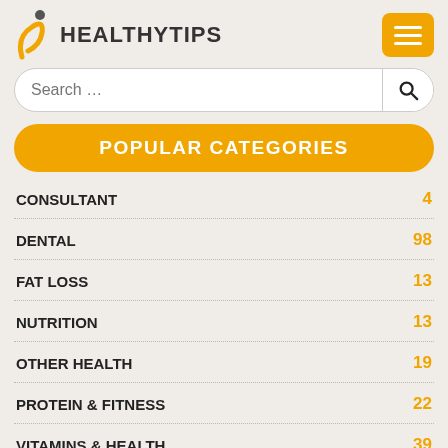HEALTHYTIPS
Search …
POPULAR CATEGORIES
CONSULTANT 4
DENTAL 98
FAT LOSS 13
NUTRITION 13
OTHER HEALTH 19
PROTEIN & FITNESS 22
VITAMINS & HEALTH 39